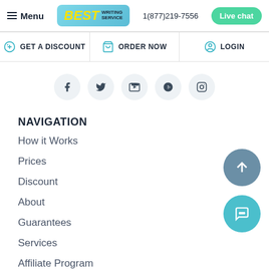Menu | BEST WRITING SERVICE | 1(877)219-7556 | Live chat
GET A DISCOUNT | ORDER NOW | LOGIN
[Figure (illustration): Social media icons row: Facebook, Twitter, YouTube, Pinterest, Instagram]
NAVIGATION
How it Works
Prices
Discount
About
Guarantees
Services
Affiliate Program
VIP Services